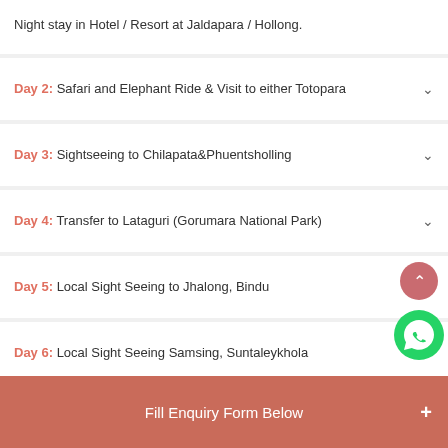Night stay in Hotel / Resort at Jaldapara / Hollong.
Day 2: Safari and Elephant Ride & Visit to either Totopara
Day 3: Sightseeing to Chilapata&Phuentsholling
Day 4: Transfer to Lataguri (Gorumara National Park)
Day 5: Local Sight Seeing to Jhalong, Bindu
Day 6: Local Sight Seeing Samsing, Suntaleykhola
Day 7: Departure transfer to Bagdogra Airport (IXB) / New Jalpaiguri Railway Station (NJP)
Fill Enquiry Form Below